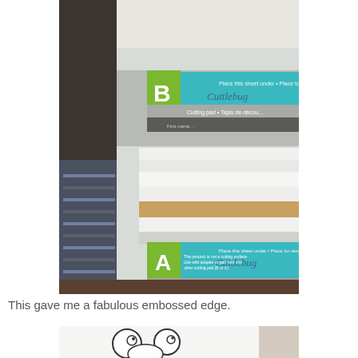[Figure (photo): Photo of a Cuttlebug cutting and embossing machine with plates labeled A and B stacked with paper and cutting pads inside a clear plastic storage case]
This gave me a fabulous embossed edge.
[Figure (photo): Partial photo showing a cartoon-style drawing with large eyes on white paper]